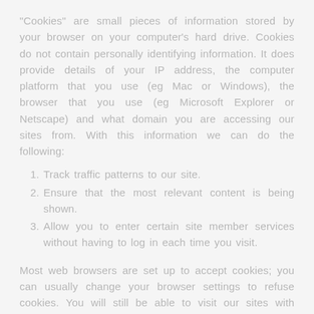"Cookies" are small pieces of information stored by your browser on your computer's hard drive. Cookies do not contain personally identifying information. It does provide details of your IP address, the computer platform that you use (eg Mac or Windows), the browser that you use (eg Microsoft Explorer or Netscape) and what domain you are accessing our sites from. With this information we can do the following:
Track traffic patterns to our site.
Ensure that the most relevant content is being shown.
Allow you to enter certain site member services without having to log in each time you visit.
Most web browsers are set up to accept cookies; you can usually change your browser settings to refuse cookies. You will still be able to visit our sites with cookies disabled.